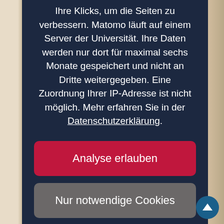[Figure (screenshot): Cookie consent modal overlay on a university website, dark navy background with German text about Matomo analytics, two buttons: 'Analyse erlauben' (crimson) and 'Nur notwendige Cookies' (grey). Below the modal is a photo of a red hardcover book.]
Ihre Klicks, um die Seiten zu verbessern. Matomo läuft auf einem Server der Universität. Ihre Daten werden nur dort für maximal sechs Monate gespeichert und nicht an Dritte weitergegeben. Eine Zuordnung Ihrer IP-Adresse ist nicht möglich. Mehr erfahren Sie in der Datenschutzerklärung.
Analyse erlauben
Nur notwendige Cookies